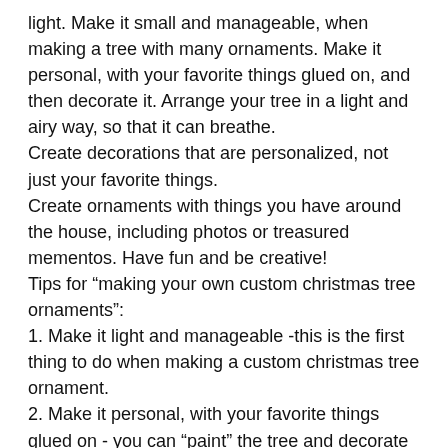light. Make it small and manageable, when making a tree with many ornaments. Make it personal, with your favorite things glued on, and then decorate it. Arrange your tree in a light and airy way, so that it can breathe.
Create decorations that are personalized, not just your favorite things.
Create ornaments with things you have around the house, including photos or treasured mementos. Have fun and be creative!
Tips for “making your own custom christmas tree ornaments”:
1. Make it light and manageable -this is the first thing to do when making a custom christmas tree ornament.
2. Make it personal, with your favorite things glued on - you can “paint” the tree and decorate with things you hold dear, or things that mean a lot to you.
3. Create decorations that are personalized and not just your favorite things -it makes the ornament more